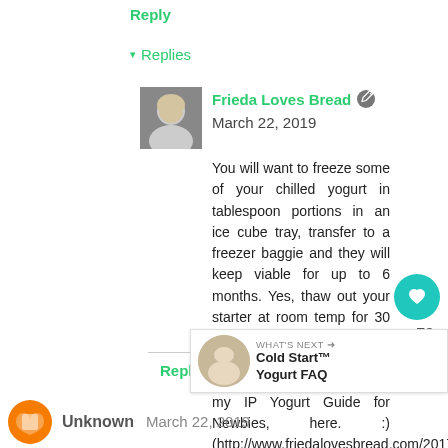Reply
▾ Replies
Frieda Loves Bread March 22, 2019
You will want to freeze some of your chilled yogurt in tablespoon portions in an ice cube tray, transfer to a freezer baggie and they will keep viable for up to 6 months. Yes, thaw out your starter at room temp for 30 min, mash and dissolve in a cup of milk. You can find this answer and much more in my IP Yogurt Guide for Newbies, here. :) (http://www.friedalovesbread.com/2017/07/instant-pot-dairy-yogurt-for-newbies.html)
Reply
73
WHAT'S NEXT → Cold Start™ Yogurt FAQ
Unknown March 22, 2019